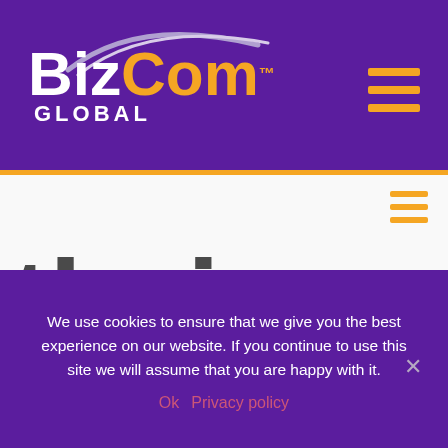[Figure (logo): BizCom Global logo with purple arc swoosh above text. 'Biz' in white, 'Com' in orange, 'GLOBAL' in white below, on purple background.]
their
We use cookies to ensure that we give you the best experience on our website. If you continue to use this site we will assume that you are happy with it.
Ok  Privacy policy